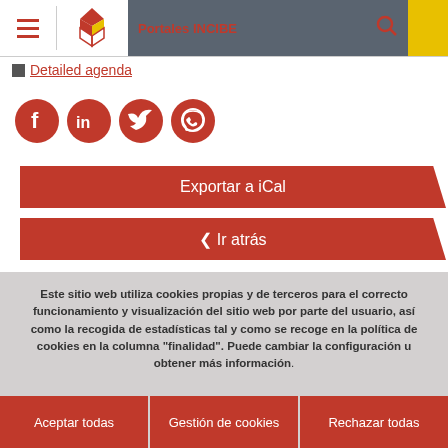[Figure (screenshot): INCIBE website navigation bar with hamburger menu, INCIBE diamond logo, grey center panel, 'Portales INCIBE' text in red on grey, red search icon on yellow background]
Detailed agenda
[Figure (illustration): Four red circular social media icons: Facebook, LinkedIn, Twitter, WhatsApp]
Exportar a iCal
< Ir atrás
Este sitio web utiliza cookies propias y de terceros para el correcto funcionamiento y visualización del sitio web por parte del usuario, así como la recogida de estadísticas tal y como se recoge en la política de cookies en la columna "finalidad". Puede cambiar la configuración u obtener más información.
Aceptar todas
Gestión de cookies
Rechazar todas